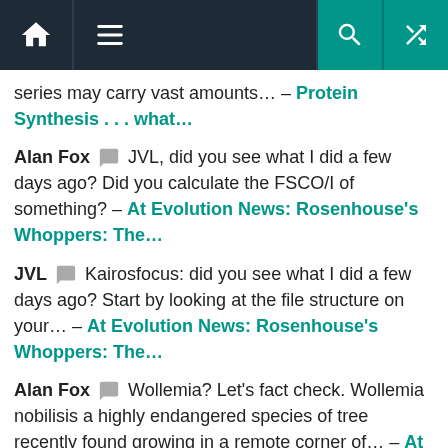Navigation bar with home, menu, search, and shuffle icons
series may carry vast amounts… – Protein Synthesis . . . what…
Alan Fox 💬 JVL, did you see what I did a few days ago? Did you calculate the FSCO/I of something? – At Evolution News: Rosenhouse's Whoppers: The…
JVL 💬 Kairosfocus: did you see what I did a few days ago? Start by looking at the file structure on your… – At Evolution News: Rosenhouse's Whoppers: The…
Alan Fox 💬 Wollemia? Let's fact check. Wollemia nobilisis a highly endangered species of tree recently found growing in a remote corner of… – At Evolution News: Rosenhouse's Whoppers: The…
kairosfocus 💬 JVL, did you see what I did a few days ago? Start by looking at the file structure on your…